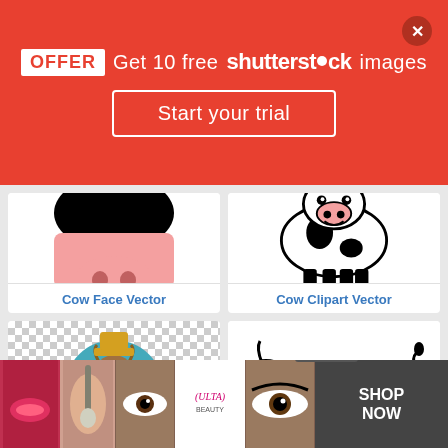[Figure (screenshot): Shutterstock promotional banner: OFFER Get 10 free shutterstock images, Start your trial button on red background with close X button]
[Figure (illustration): Cow Face Vector - cartoon cow face peeking from top, black hair, pink snout with nostrils]
Cow Face Vector
[Figure (illustration): Cow Clipart Vector - black and white cartoon cow drawing, full body front-facing]
Cow Clipart Vector
[Figure (illustration): Cartoon cow character with yellow hat on transparent checkered background]
[Figure (illustration): Black and white silhouette cow clipart, side view]
[Figure (photo): Ulta Beauty advertisement banner showing makeup and eyes collage with SHOP NOW button and CLOSE label]